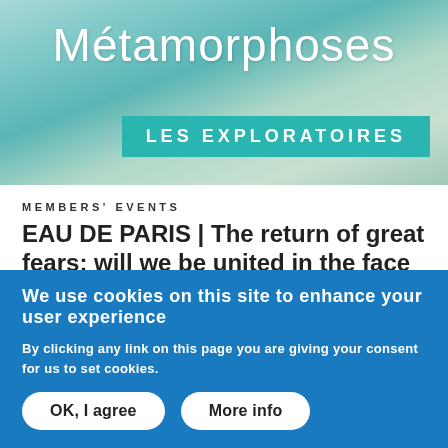[Figure (illustration): Banner image with teal/turquoise water-themed background. Script text 'Métamorphoses' in white at top. Teal rectangle with white bold uppercase text 'LES EXPLORATOIRES' at bottom right.]
MEMBERS' EVENTS
EAU DE PARIS | The return of great fears: will we be united in the face of risk?, Les Ateliers des Métamorphoses #6
23 NOVEMBER 2021
We use cookies on this site to enhance your user experience
By clicking any link on this page you are giving your consent for us to set cookies.
OK, I agree    More info